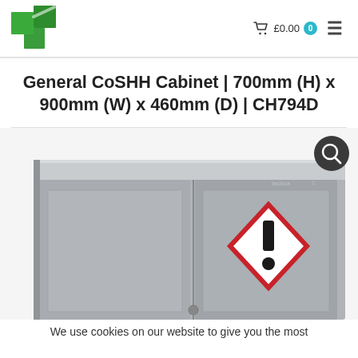[Figure (logo): Green medical cross logo made of overlapping squares with a diagonal light streak]
£0.00  0  ≡
General CoSHH Cabinet | 700mm (H) x 900mm (W) x 460mm (D) | CH794D
[Figure (photo): Grey CoSHH cabinet with two doors, showing a GHS exclamation mark hazard warning diamond symbol on the right door. Small keyhole lock visible at bottom center.]
We use cookies on our website to give you the most